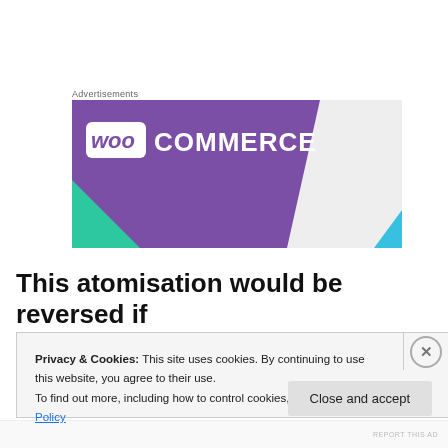Advertisements
[Figure (logo): WooCommerce advertisement banner with purple background, WooCommerce logo in white, green triangle bottom-left, blue triangle bottom-right]
This atomisation would be reversed if
Privacy & Cookies: This site uses cookies. By continuing to use this website, you agree to their use.
To find out more, including how to control cookies, see here: Cookie Policy
Close and accept